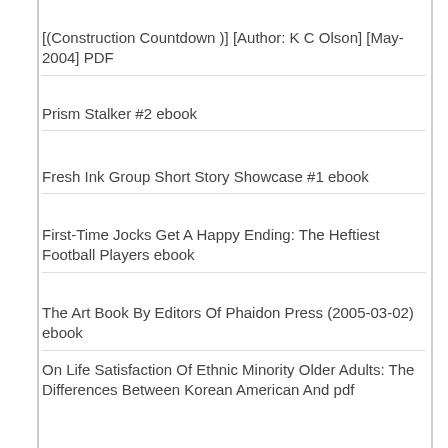[(Construction Countdown )] [Author: K C Olson] [May-2004] PDF
Prism Stalker #2 ebook
Fresh Ink Group Short Story Showcase #1 ebook
First-Time Jocks Get A Happy Ending: The Heftiest Football Players ebook
The Art Book By Editors Of Phaidon Press (2005-03-02) ebook
On Life Satisfaction Of Ethnic Minority Older Adults: The Differences Between Korean American And pdf
Bruce Davidson: Outside Inside pdf epub
Fairy Tales Of Charles Perrault (Illustrated) PDF
Ocotillo Dreams ebook